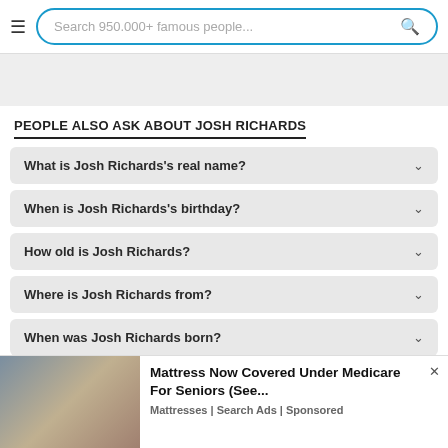Search 950.000+ famous people...
PEOPLE ALSO ASK ABOUT JOSH RICHARDS
What is Josh Richards's real name?
When is Josh Richards's birthday?
How old is Josh Richards?
Where is Josh Richards from?
When was Josh Richards born?
[Figure (photo): Advertisement showing two people on a bed, promoting Mattress Now Covered Under Medicare For Seniors]
Mattress Now Covered Under Medicare For Seniors (See...
Mattresses | Search Ads | Sponsored